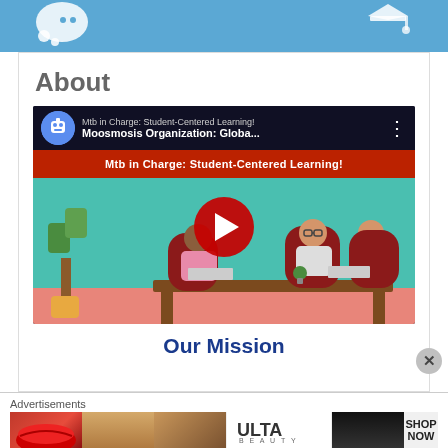[Figure (screenshot): Top blue header bar with chat bubble icon on left and graduation cap icon on right]
About
[Figure (screenshot): YouTube video embed thumbnail: 'Mtb in Charge: Student-Centered Learning! Moosmosis Organization: Globa...' showing animated characters sitting at a desk, with a red play button in the center. Created using PowToon.]
Our Mission
Advertisements
[Figure (photo): Advertisement strip showing beauty/makeup images and an ULTA Beauty ad with SHOP NOW call to action]